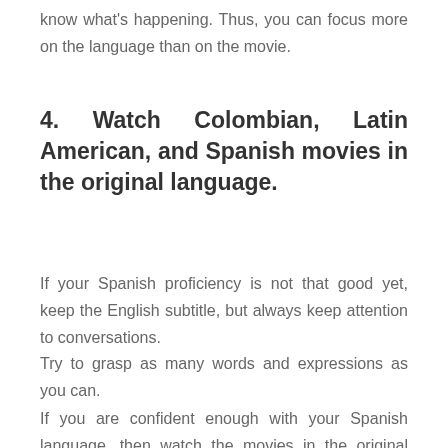know what's happening. Thus, you can focus more on the language than on the movie.
4. Watch Colombian, Latin American, and Spanish movies in the original language.
If your Spanish proficiency is not that good yet, keep the English subtitle, but always keep attention to conversations.
Try to grasp as many words and expressions as you can.
If you are confident enough with your Spanish language, then watch the movies in the original language with Spanish subtitles.